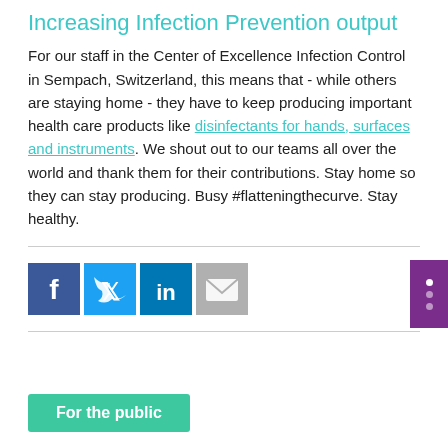Increasing Infection Prevention output
For our staff in the Center of Excellence Infection Control in Sempach, Switzerland, this means that  - while others are staying home -  they have to keep producing important health care products like disinfectants for hands, surfaces and instruments. We shout out to our teams all over the world and thank them for their contributions. Stay home so they can stay producing. Busy #flatteningthecurve. Stay healthy.
[Figure (other): Social media sharing icons: Facebook, Twitter, LinkedIn, Email]
For the public